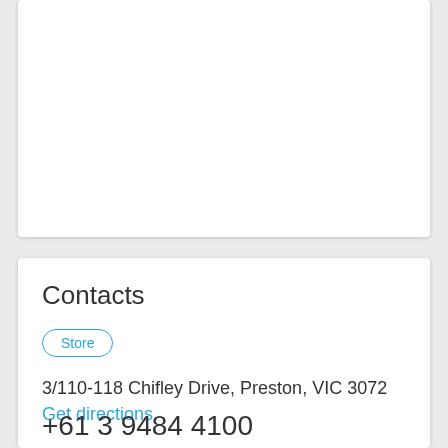[Figure (other): White card area at top, mostly empty/blank white space]
Contacts
Store
3/110-118 Chifley Drive, Preston, VIC 3072
Get directions
+61 3 9484 4100